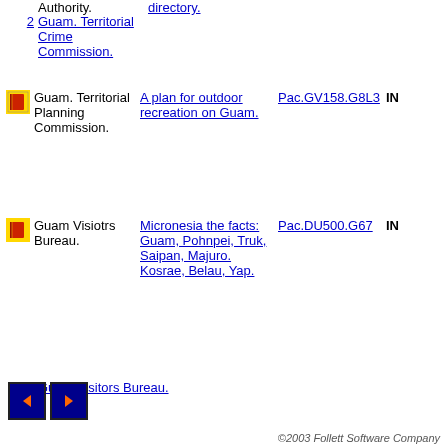Authority. [directory link]
2  Guam. Territorial Crime Commission.
[book icon] Guam. Territorial Planning Commission.  |  A plan for outdoor recreation on Guam.  |  Pac.GV158.G8L3  |  IN
[book icon] Guam Visiotrs Bureau.  |  Micronesia the facts: Guam, Pohnpei, Truk, Saipan, Majuro. Kosrae, Belau, Yap.  |  Pac.DU500.G67  |  IN
5  Guam Visitors Bureau.
[Figure (other): Navigation buttons: back (left arrow) and forward (right arrow) on dark blue background]
©2003 Follett Software Company